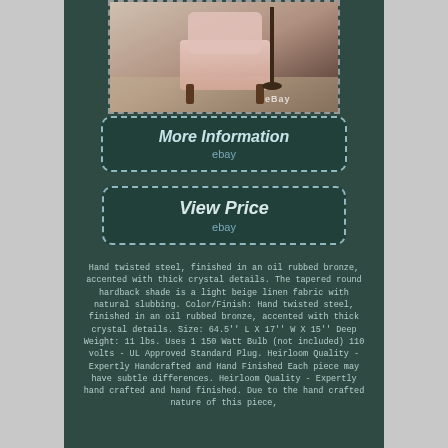[Figure (photo): Product photo of a pink accent chair with dark wood legs in a room setting, with eBay watermark]
[Figure (other): More Information button with dashed border and eBay label]
[Figure (other): View Price button with dashed border and eBay label]
Hand twisted steel, finished in an oil rubbed bronze, accented with thick crystal details. The tapered round hardback shade is a light beige linen fabric with natural slubbing. Color/Finish: Hand twisted steel, finished in an oil rubbed bronze, accented with thick crystal details. Size: 64.5'' L X 17'' W X 15'' Deep Weight: 11 lbs. Uses 1 150 Watt Bulb (not included) 110 volts - UL Approved Standard Plug. Heirloom Quality - Expertly Handcrafted and Hand Finished Each piece may have subtle differences. Heirloom Quality - Expertly hand crafted and hand finished. Due to the hand crafted nature of this piece,